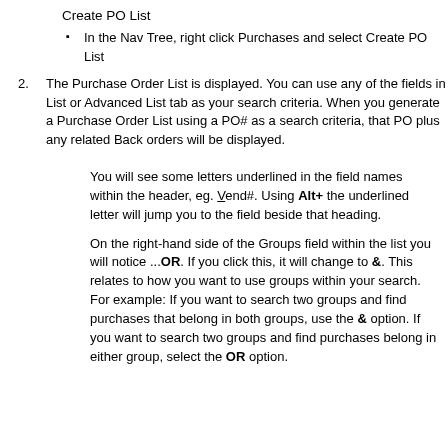Create PO List
In the Nav Tree, right click Purchases and select Create PO List
The Purchase Order List is displayed. You can use any of the fields in List or Advanced List tab as your search criteria. When you generate a Purchase Order List using a PO# as a search criteria, that PO plus any related Back orders will be displayed.
You will see some letters underlined in the field names within the header, eg. Vend#. Using Alt+ the underlined letter will jump you to the field beside that heading.
On the right-hand side of the Groups field within the list you will notice ...OR. If you click this, it will change to &. This relates to how you want to use groups within your search. For example: If you want to search two groups and find purchases that belong in both groups, use the & option. If you want to search two groups and find purchases belong in either group, select the OR option.